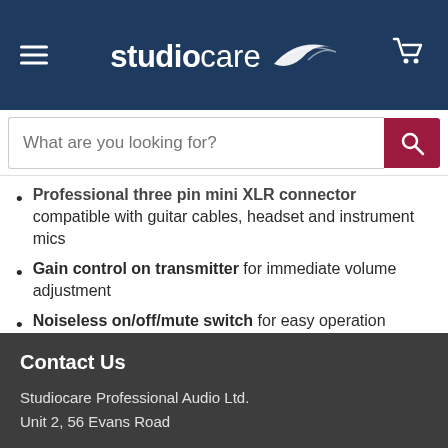studiocare
Professional three pin mini XLR connector compatible with guitar cables, headset and instrument mics
Gain control on transmitter for immediate volume adjustment
Noiseless on/off/mute switch for easy operation
Compact and rugged body-pack design for maximum wearing comfort
Contact Us
Studiocare Professional Audio Ltd.
Unit 2, 56 Evans Road